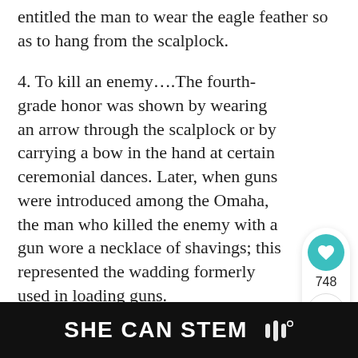entitled the man to wear the eagle feather so as to hang from the scalplock.
4. To kill an enemy….The fourth-grade honor was shown by wearing an arrow through the scalplock or by carrying a bow in the hand at certain ceremonial dances. Later, when guns were introduced among the Omaha, the man who killed the enemy with a gun wore a necklace of shavings; this represented the wadding formerly used in loading guns.
[Figure (infographic): Social interaction panel with heart/like button showing 748 likes and a share button]
[Figure (infographic): WHAT'S NEXT card with thumbnail image and text 'Tail Feather Fans |...']
SHE CAN STEM